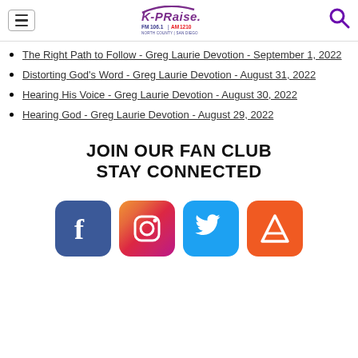K-PRAISE FM 106.1 | AM 1210 — Navigation header with hamburger menu and search icon
The Right Path to Follow - Greg Laurie Devotion - September 1, 2022
Distorting God's Word - Greg Laurie Devotion - August 31, 2022
Hearing His Voice - Greg Laurie Devotion - August 30, 2022
Hearing God - Greg Laurie Devotion - August 29, 2022
JOIN OUR FAN CLUB
STAY CONNECTED
[Figure (logo): Social media icons: Facebook (blue rounded square with f), Instagram (pink/red rounded square with camera icon), Twitter (blue rounded square with bird), Anchor/podcast (orange rounded square with A logo)]